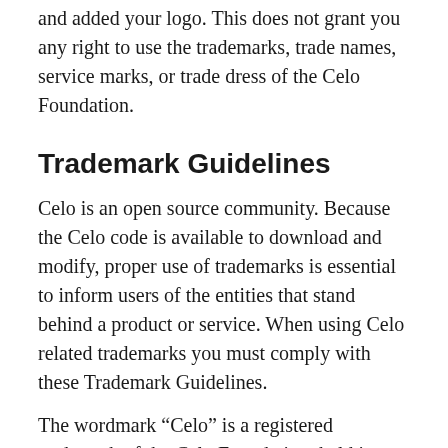and added your logo. This does not grant you any right to use the trademarks, trade names, service marks, or trade dress of the Celo Foundation.
Trademark Guidelines
Celo is an open source community. Because the Celo code is available to download and modify, proper use of trademarks is essential to inform users of the entities that stand behind a product or service. When using Celo related trademarks you must comply with these Trademark Guidelines.
The wordmark “Celo” is a registered trademark of the Celo Foundation, held in service of the Celo community. However, this is not a complete list of Celo names, logos, and brand features, all of which